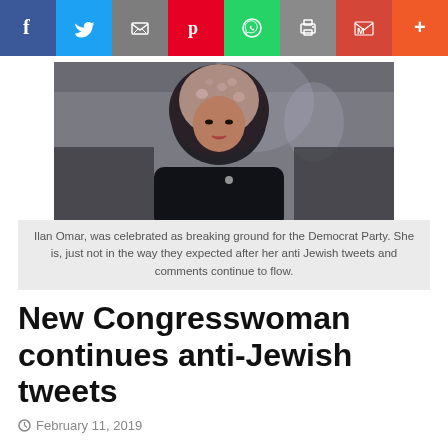[Figure (infographic): Social media sharing buttons bar: Facebook (blue), Twitter (light blue), Email (gray), Pinterest (red), WhatsApp (green), Print (gray), Gmail (red), More (orange)]
[Figure (photo): Photo of Ilhan Omar wearing a hijab with floral print, standing in front of what appears to be the US Capitol building]
Ilan Omar, was celebrated as breaking ground for the Democrat Party. She is, just not in the way they expected after her anti Jewish tweets and comments continue to flow.
New Congresswoman continues anti-Jewish tweets
February 11, 2019
The hatred of Jews from one freshman U.S. Congresswoman is seething from her Tweets and forcing the Democrat Party to publicly denounce her